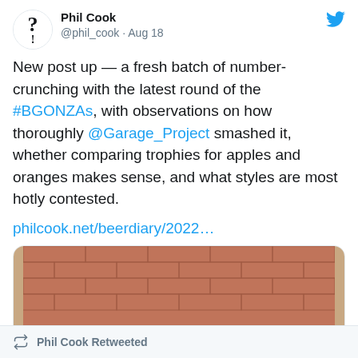Phil Cook @phil_cook · Aug 18
New post up — a fresh batch of number-crunching with the latest round of the #BGONZAs, with observations on how thoroughly @Garage_Project smashed it, whether comparing trophies for apples and oranges makes sense, and what styles are most hotly contested.
philcook.net/beerdiary/2022…
[Figure (photo): A dark beer bottle lying on its side on a wooden surface next to a cork, with a brick wall background. The bottle has a white label.]
3 likes
Phil Cook Retweeted